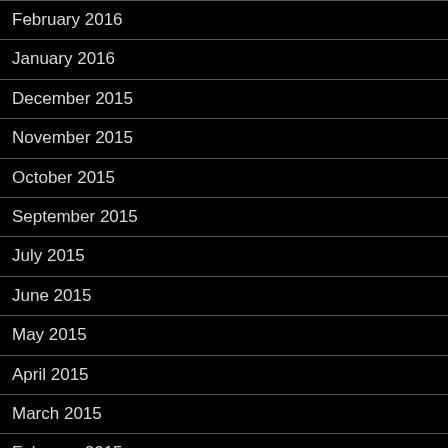February 2016
January 2016
December 2015
November 2015
October 2015
September 2015
July 2015
June 2015
May 2015
April 2015
March 2015
February 2015
January 2015